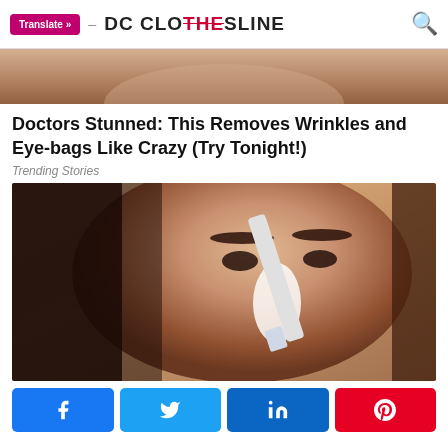Translate » DC CLOTHESLINE
[Figure (photo): Partial close-up of elderly person's face showing skin texture near mouth area]
Doctors Stunned: This Removes Wrinkles and Eye-bags Like Crazy (Try Tonight!)
Trending Stories
[Figure (photo): Young dark-haired woman applying white substance to nose area with a white brush/applicator]
Facebook share, Twitter share, LinkedIn share, Pinterest share buttons